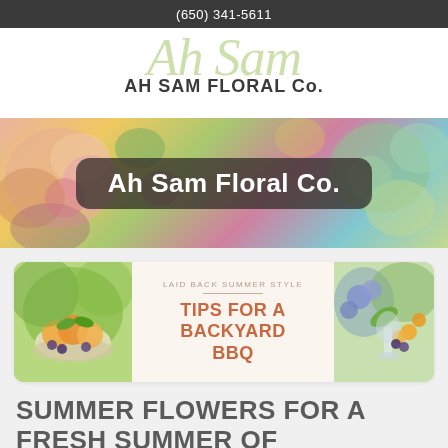(650) 341-5611
[Figure (logo): Ah Sam Floral Co. logo with stylized script and text]
[Figure (photo): Hero banner with colorful flowers background and 'Ah Sam Floral Co.' text overlay]
[Figure (photo): Card with two flower/fruit photos and center text: LAID BACK SUMMER STYLE / TIPS FOR A BACKYARD BBQ]
SUMMER FLOWERS FOR A FRESH SUMMER OF BACKYARD